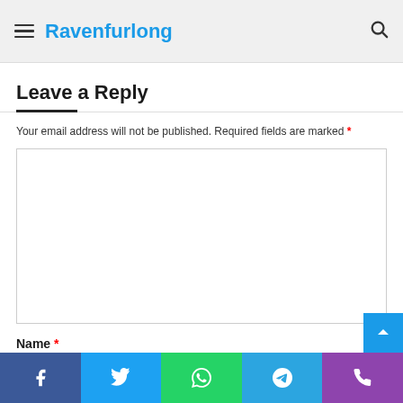Ravenfurlong
Leave a Reply
Your email address will not be published. Required fields are marked *
Name *